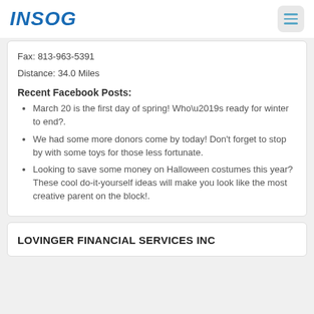INSOG
Fax: 813-963-5391
Distance: 34.0 Miles
Recent Facebook Posts:
March 20 is the first day of spring! Who\u2019s ready for winter to end?.
We had some more donors come by today! Don't forget to stop by with some toys for those less fortunate.
Looking to save some money on Halloween costumes this year? These cool do-it-yourself ideas will make you look like the most creative parent on the block!.
LOVINGER FINANCIAL SERVICES INC